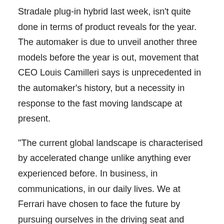Stradale plug-in hybrid last week, isn't quite done in terms of product reveals for the year. The automaker is due to unveil another three models before the year is out, movement that CEO Louis Camilleri says is unprecedented in the automaker's history, but a necessity in response to the fast moving landscape at present.
“The current global landscape is characterised by accelerated change unlike anything ever experienced before. In business, in communications, in our daily lives. We at Ferrari have chosen to face the future by pursuing ourselves in the driving seat and challenging, our way,” he said during the press launch of the SF90 Stradale in Maranello.
“It is a year in which we have decided to significantly increase our product offerings. Firstly, because standing still and waiting for things to happen is not an option. Also because one of Enzo